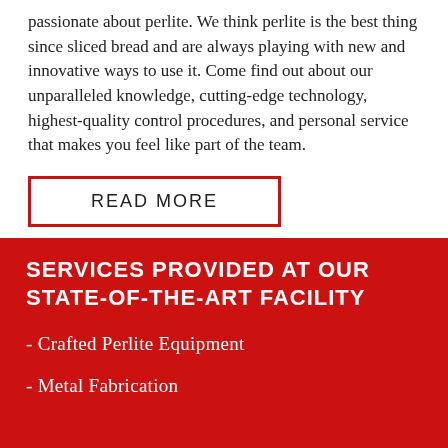passionate about perlite. We think perlite is the best thing since sliced bread and are always playing with new and innovative ways to use it. Come find out about our unparalleled knowledge, cutting-edge technology, highest-quality control procedures, and personal service that makes you feel like part of the team.
READ MORE
SERVICES PROVIDED AT OUR STATE-OF-THE-ART FACILITY
- Crafted Perlite Equipment
- Metal Fabrication